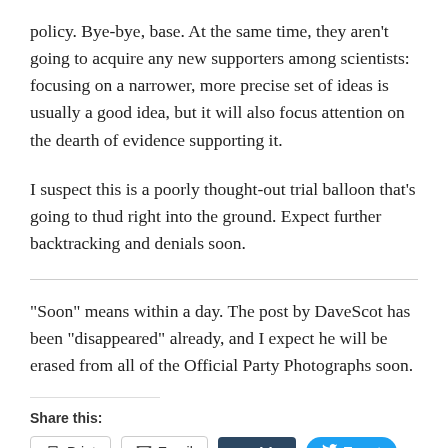policy. Bye-bye, base. At the same time, they aren't going to acquire any new supporters among scientists: focusing on a narrower, more precise set of ideas is usually a good idea, but it will also focus attention on the dearth of evidence supporting it.
I suspect this is a poorly thought-out trial balloon that's going to thud right into the ground. Expect further backtracking and denials soon.
“Soon” means within a day. The post by DaveScot has been “disappeared” already, and I expect he will be erased from all of the Official Party Photographs soon.
Share this:
[Figure (other): Share buttons row: Print, Email, tumblr., Tweet]